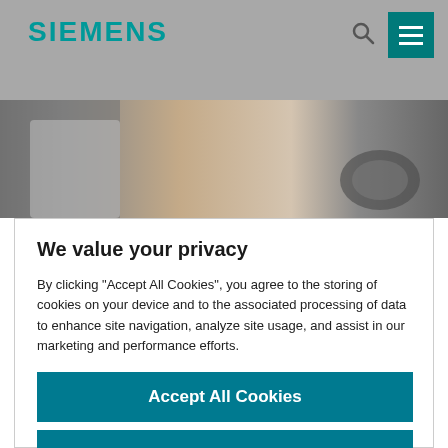SIEMENS
[Figure (photo): Partial view of a person in light-colored clothing near a car interior with a steering wheel visible]
We value your privacy
By clicking “Accept All Cookies”, you agree to the storing of cookies on your device and to the associated processing of data to enhance site navigation, analyze site usage, and assist in our marketing and performance efforts.
Accept All Cookies
Reject Cookies
Manage Preferences